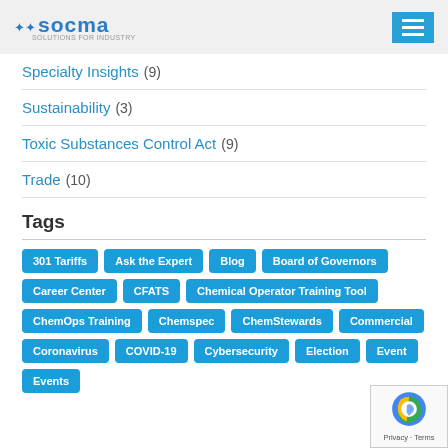SOCMA — Solutions for Industry
Specialty Insights (9)
Sustainability (3)
Toxic Substances Control Act (9)
Trade (10)
Tags
301 Tariffs, Ask the Expert, Blog, Board of Governors, Career Center, CFATS, Chemical Operator Training Tool, ChemOps Training, Chemspec, ChemStewards, Commercial, Coronavirus, COVID-19, Cybersecurity, Election, Event, Events